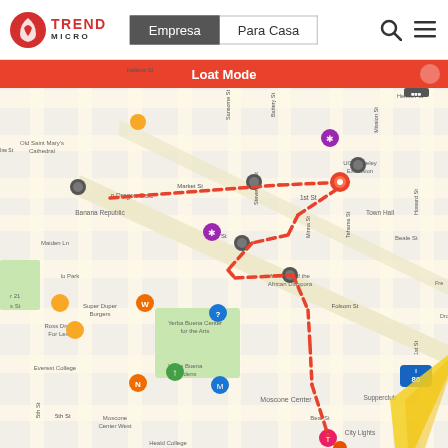[Figure (screenshot): Trend Micro website header with logo on left, navigation buttons 'Empresa' (active/dark) and 'Para Casa' in center, search and menu icons on right]
[Figure (map): Mobile app screenshot showing Google Maps-style street map of San Francisco SOMA district with a red dashed route overlay showing a tracked path through the streets, multiple location pins, and a 'Lost Mode' banner at top. Streets visible include Market St, 1st St, 2nd St, Mission St, Folsom St, Howard St, Sansome St, Battery St, Stevenson St, Minna St, Tehama St. Landmarks include Old Saint Mary's Cathedral, Banana Republic, Museum of the African Diaspora, Yerba Buena Gardens, Yerba Buena Center for the Arts, Moscone Center, Heald College, Town Hall, Super Duper Burgers, Ross Dress For Less, Everest College, Moscone Center West, Supperclub, City Lights. Highway 80 visible in bottom right.]